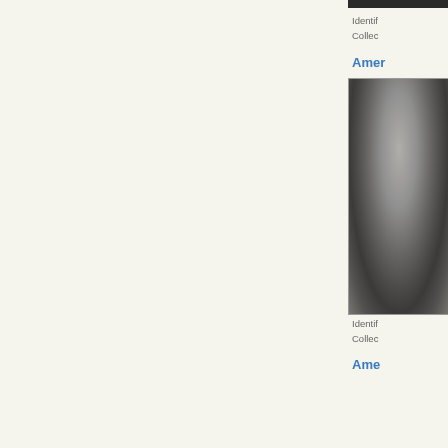Identif
Collec
Amer
[Figure (photo): Black and white photograph of a person, partially cropped at right edge of page]
Identif
Collec
Ame